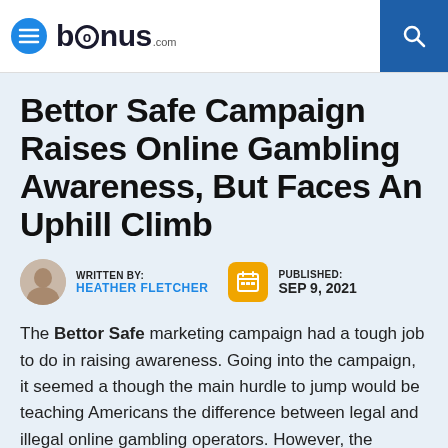bonus.com
Bettor Safe Campaign Raises Online Gambling Awareness, But Faces An Uphill Climb
WRITTEN BY: HEATHER FLETCHER   PUBLISHED: SEP 9, 2021
The Bettor Safe marketing campaign had a tough job to do in raising awareness. Going into the campaign, it seemed a though the main hurdle to jump would be teaching Americans the difference between legal and illegal online gambling operators. However, the creators of the campaign discovered that they would